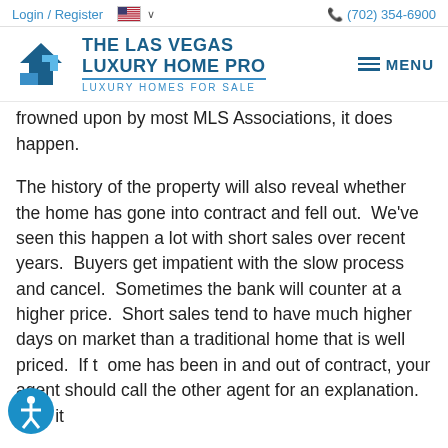Login / Register  🇺🇸 ∨   (702) 354-6900
[Figure (logo): The Las Vegas Luxury Home Pro logo with blue house/arrow icon, text 'THE LAS VEGAS LUXURY HOME PRO' and tagline 'LUXURY HOMES FOR SALE', with MENU button on right]
frowned upon by most MLS Associations, it does happen.
The history of the property will also reveal whether the home has gone into contract and fell out.  We've seen this happen a lot with short sales over recent years.  Buyers get impatient with the slow process and cancel.  Sometimes the bank will counter at a higher price.  Short sales tend to have much higher days on market than a traditional home that is well priced.  If the home has been in and out of contract, your agent should call the other agent for an explanation.  Was it